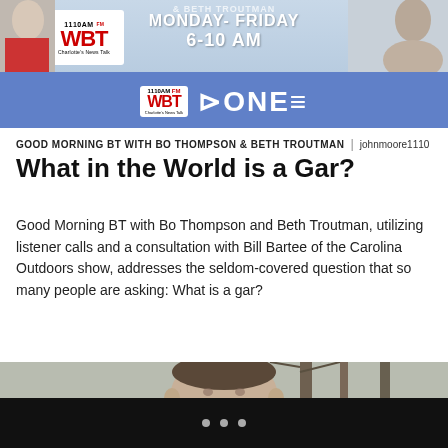[Figure (photo): WBT 1110AM radio station banner with logo, Monday-Friday 6-10 AM text, and blue stripe with WBT ONE logo]
GOOD MORNING BT WITH BO THOMPSON & BETH TROUTMAN | johnmoore1110
What in the World is a Gar?
Good Morning BT with Bo Thompson and Beth Troutman, utilizing listener calls and a consultation with Bill Bartee of the Carolina Outdoors show, addresses the seldom-covered question that so many people are asking: What is a gar?
[Figure (photo): Photo of a man smiling, with trees and ivy in the background]
• • •